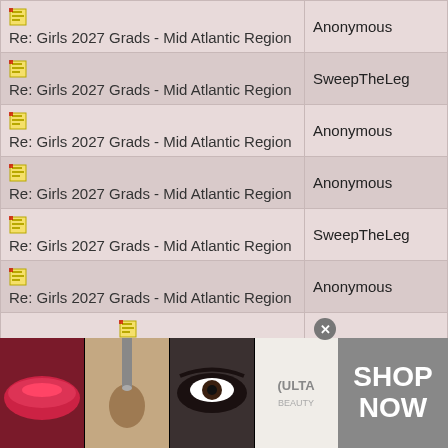| Topic | Author |
| --- | --- |
| Re: Girls 2027 Grads - Mid Atlantic Region | Anonymous |
| Re: Girls 2027 Grads - Mid Atlantic Region | SweepTheLeg |
| Re: Girls 2027 Grads - Mid Atlantic Region | Anonymous |
| Re: Girls 2027 Grads - Mid Atlantic Region | Anonymous |
| Re: Girls 2027 Grads - Mid Atlantic Region | SweepTheLeg |
| Re: Girls 2027 Grads - Mid Atlantic Region | Anonymous |
| Re: Girls 2027 Grads - Mid Atlantic Region | Anonymous |
| Re: Girls 2027 Grads - Mid Atlantic Region | SweepTheLeg |
[Figure (other): ULTA Beauty advertisement banner with makeup/beauty images and SHOP NOW text]